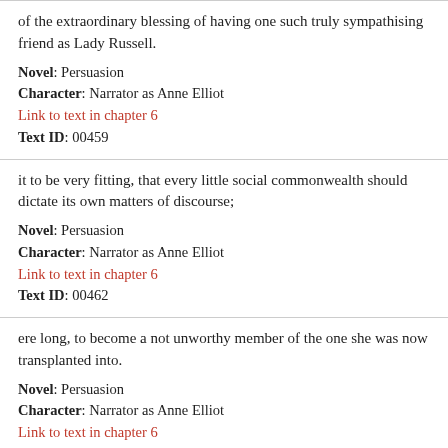of the extraordinary blessing of having one such truly sympathising friend as Lady Russell.
Novel: Persuasion
Character: Narrator as Anne Elliot
Link to text in chapter 6
Text ID: 00459
it to be very fitting, that every little social commonwealth should dictate its own matters of discourse;
Novel: Persuasion
Character: Narrator as Anne Elliot
Link to text in chapter 6
Text ID: 00462
ere long, to become a not unworthy member of the one she was now transplanted into.
Novel: Persuasion
Character: Narrator as Anne Elliot
Link to text in chapter 6
Text ID: 00465